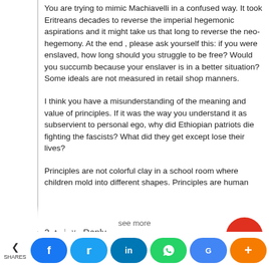You are trying to mimic Machiavelli in a confused way. It took Eritreans decades to reverse the imperial hegemonic aspirations and it might take us that long to reverse the neo-hegemony. At the end , please ask yourself this: if you were enslaved, how long should you struggle to be free? Would you succumb because your enslaver is in a better situation? Some ideals are not measured in retail shop manners.
I think you have a misunderstanding of the meaning and value of principles. If it was the way you understand it as subservient to personal ego, why did Ethiopian patriots die fighting the fascists? What did they get except lose their lives?
Principles are not colorful clay in a school room where children mold into different shapes. Principles are human …
see more
2 ∧ | ∨ Reply